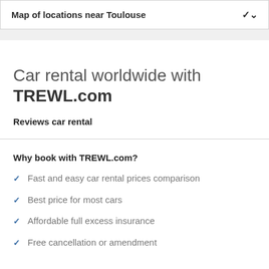Map of locations near Toulouse
Car rental worldwide with TREWL.com
Reviews car rental
Why book with TREWL.com?
Fast and easy car rental prices comparison
Best price for most cars
Affordable full excess insurance
Free cancellation or amendment